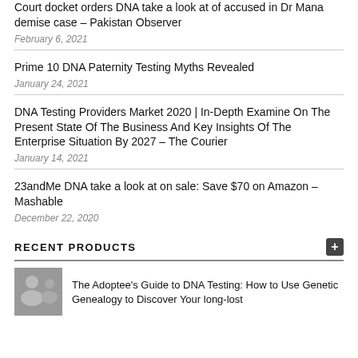Court docket orders DNA take a look at of accused in Dr Mana demise case – Pakistan Observer
February 6, 2021
Prime 10 DNA Paternity Testing Myths Revealed
January 24, 2021
DNA Testing Providers Market 2020 | In-Depth Examine On The Present State Of The Business And Key Insights Of The Enterprise Situation By 2027 – The Courier
January 14, 2021
23andMe DNA take a look at on sale: Save $70 on Amazon – Mashable
December 22, 2020
RECENT PRODUCTS
The Adoptee's Guide to DNA Testing: How to Use Genetic Genealogy to Discover Your long-lost…